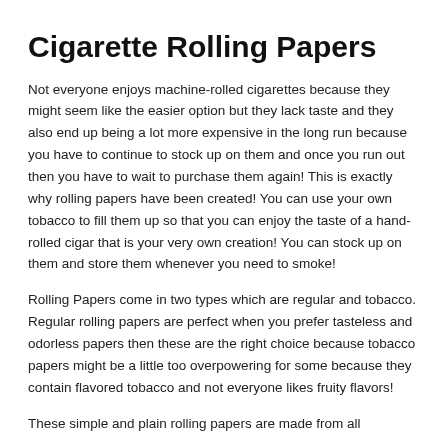Cigarette Rolling Papers
Not everyone enjoys machine-rolled cigarettes because they might seem like the easier option but they lack taste and they also end up being a lot more expensive in the long run because you have to continue to stock up on them and once you run out then you have to wait to purchase them again! This is exactly why rolling papers have been created! You can use your own tobacco to fill them up so that you can enjoy the taste of a hand-rolled cigar that is your very own creation! You can stock up on them and store them whenever you need to smoke!
Rolling Papers come in two types which are regular and tobacco. Regular rolling papers are perfect when you prefer tasteless and odorless papers then these are the right choice because tobacco papers might be a little too overpowering for some because they contain flavored tobacco and not everyone likes fruity flavors!
These simple and plain rolling papers are made from all